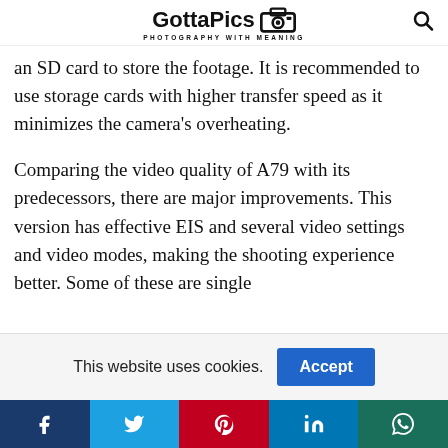GottaPics — PHOTOGRAPHY WITH MEANING
an SD card to store the footage. It is recommended to use storage cards with higher transfer speed as it minimizes the camera's overheating.
Comparing the video quality of A79 with its predecessors, there are major improvements. This version has effective EIS and several video settings and video modes, making the shooting experience better. Some of these are single
This website uses cookies.
Facebook | Twitter | Pinterest | LinkedIn | WhatsApp